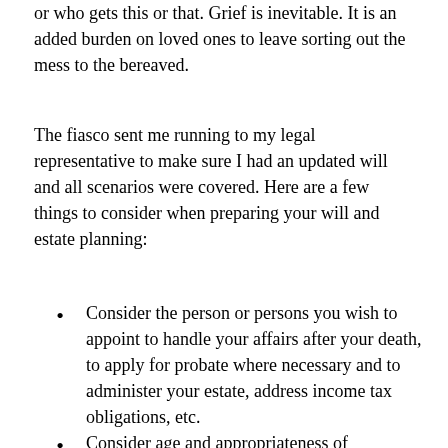or who gets this or that. Grief is inevitable. It is an added burden on loved ones to leave sorting out the mess to the bereaved.
The fiasco sent me running to my legal representative to make sure I had an updated will and all scenarios were covered. Here are a few things to consider when preparing your will and estate planning:
Consider the person or persons you wish to appoint to handle your affairs after your death, to apply for probate where necessary and to administer your estate, address income tax obligations, etc.
Consider age and appropriateness of